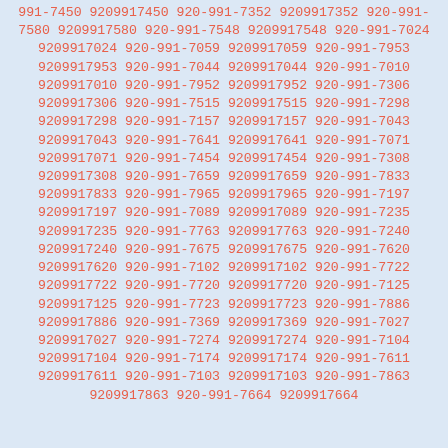991-7450 9209917450 920-991-7352 9209917352 920-991-7580 9209917580 920-991-7548 9209917548 920-991-7024 9209917024 920-991-7059 9209917059 920-991-7953 9209917953 920-991-7044 9209917044 920-991-7010 9209917010 920-991-7952 9209917952 920-991-7306 9209917306 920-991-7515 9209917515 920-991-7298 9209917298 920-991-7157 9209917157 920-991-7043 9209917043 920-991-7641 9209917641 920-991-7071 9209917071 920-991-7454 9209917454 920-991-7308 9209917308 920-991-7659 9209917659 920-991-7833 9209917833 920-991-7965 9209917965 920-991-7197 9209917197 920-991-7089 9209917089 920-991-7235 9209917235 920-991-7763 9209917763 920-991-7240 9209917240 920-991-7675 9209917675 920-991-7620 9209917620 920-991-7102 9209917102 920-991-7722 9209917722 920-991-7720 9209917720 920-991-7125 9209917125 920-991-7723 9209917723 920-991-7886 9209917886 920-991-7369 9209917369 920-991-7027 9209917027 920-991-7274 9209917274 920-991-7104 9209917104 920-991-7174 9209917174 920-991-7611 9209917611 920-991-7103 9209917103 920-991-7863 9209917863 920-991-7664 9209917664